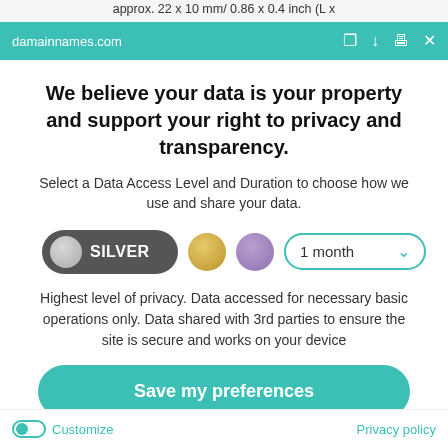approx. 22 x 10 mm/ 0.86 x 0.4 inch (L x
damainnames.com
We believe your data is your property and support your right to privacy and transparency.
Select a Data Access Level and Duration to choose how we use and share your data.
[Figure (other): Data privacy level selector showing SILVER option selected (dark pill button with grey circle), gold circle option, purple circle option, and a 1 month dropdown selector with teal border.]
Highest level of privacy. Data accessed for necessary basic operations only. Data shared with 3rd parties to ensure the site is secure and works on your device
Save my preferences
Customize   Privacy policy